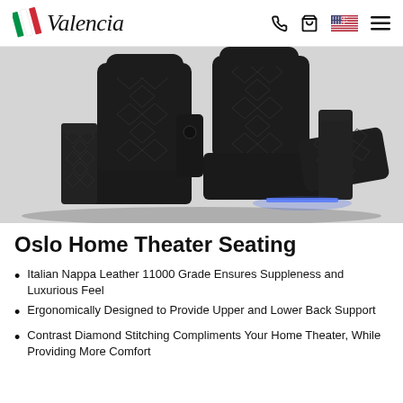Valencia (logo with Italian flag stripes, phone icon, cart icon, US flag, menu icon)
[Figure (photo): Two black leather home theater recliner seats with diamond stitching pattern, shown from an angle. The right seat is partially reclined with a blue LED light glowing underneath. The seats have armrests with cup holders and storage compartments. Background is light grey/white.]
Oslo Home Theater Seating
Italian Nappa Leather 11000 Grade Ensures Suppleness and Luxurious Feel
Ergonomically Designed to Provide Upper and Lower Back Support
Contrast Diamond Stitching Compliments Your Home Theater, While Providing More Comfort